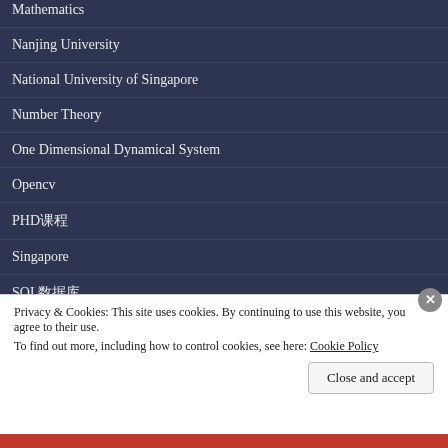Mathematics
Nanjing University
National University of Singapore
Number Theory
One Dimensional Dynamical System
Opencv
PHD课程
Singapore
SQL数据库
Privacy & Cookies: This site uses cookies. By continuing to use this website, you agree to their use.
To find out more, including how to control cookies, see here: Cookie Policy
Close and accept